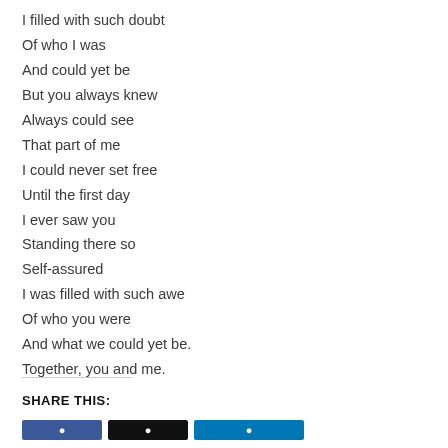I filled with such doubt
Of who I was
And could yet be
But you always knew
Always could see
That part of me
I could never set free
Until the first day
I ever saw you
Standing there so
Self-assured
I was filled with such awe
Of who you were
And what we could yet be.
Together, you and me.
SHARE THIS: